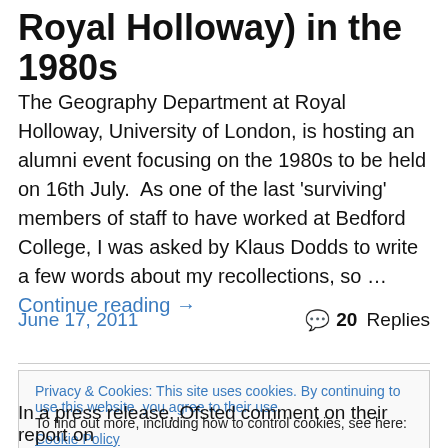Royal Holloway) in the 1980s
The Geography Department at Royal Holloway, University of London, is hosting an alumni event focusing on the 1980s to be held on 16th July.  As one of the last 'surviving' members of staff to have worked at Bedford College, I was asked by Klaus Dodds to write a few words about my recollections, so … Continue reading →
June 17, 2011   20 Replies
Privacy & Cookies: This site uses cookies. By continuing to use this website, you agree to their use.
To find out more, including how to control cookies, see here: Cookie Policy
In a press release, Ofsted comment on their report on